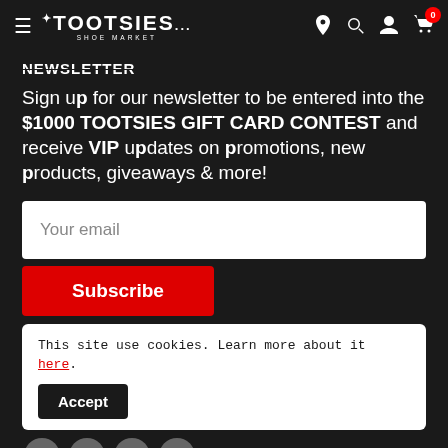TOOTSIES SHOE MARKET — navigation bar with hamburger menu, logo, location, search, account, and cart icons
NEWSLETTER
Sign up for our newsletter to be entered into the $1000 TOOTSIES GIFT CARD CONTEST and receive VIP updates on promotions, new products, giveaways & more!
Your email (input field)
Subscribe (button)
This site use cookies. Learn more about it here. Accept (button)